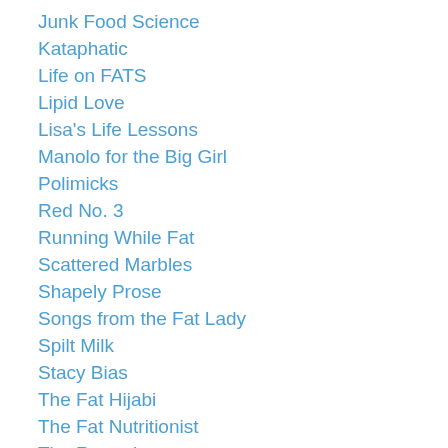Junk Food Science
Kataphatic
Life on FATS
Lipid Love
Lisa's Life Lessons
Manolo for the Big Girl
Polimicks
Red No. 3
Running While Fat
Scattered Marbles
Shapely Prose
Songs from the Fat Lady
Spilt Milk
Stacy Bias
The Fat Hijabi
The Fat Nutritionist
The Rotund
Thornacious
Two Whole Cakes, formerly Fatshionista
Well-Rounded Mama